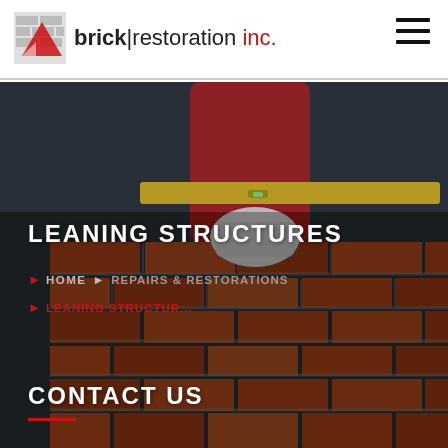brick|restoration inc.
[Figure (photo): Close-up photograph of a person in a red jacket and white gloves placing red bricks using a level/spirit level tool. Brickwork and mortar are visible in the foreground.]
LEANING STRUCTURES
HOME   REPAIRS & RESTORATIONS
LEANING STRUCTUR...
CONTACT US